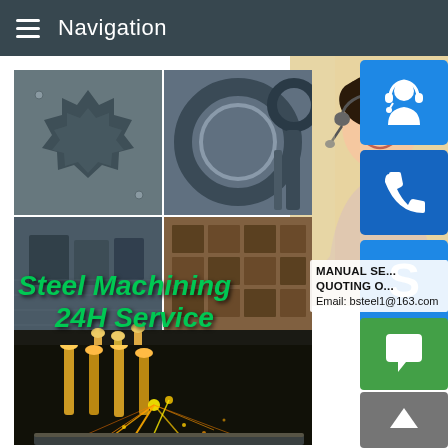Navigation
[Figure (photo): Steel machining collage: gear parts, metal rings, steel blocks, welding sparks with '24H Service' overlay]
[Figure (photo): Customer service woman with headset smiling]
Steel Machining
24H Service
MANUAL SE... QUOTING O... Email: bsteel1@163.com